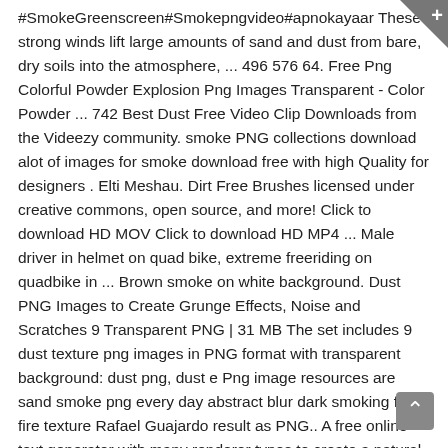#SmokeGreenscreen#Smokepngvideo#apnokayaar These strong winds lift large amounts of sand and dust from bare, dry soils into the atmosphere, ... 496 576 64. Free Png Colorful Powder Explosion Png Images Transparent - Color Powder ... 742 Best Dust Free Video Clip Downloads from the Videezy community. smoke PNG collections download alot of images for smoke download free with high Quality for designers . Elti Meshau. Dirt Free Brushes licensed under creative commons, open source, and more! Click to download HD MOV Click to download HD MP4 ... Male driver in helmet on quad bike, extreme freeriding on quadbike in ... Brown smoke on white background. Dust PNG Images to Create Grunge Effects, Noise and Scratches 9 Transparent PNG | 31 MB The set includes 9 dust texture png images in PNG format with transparent background: dust png, dust e Png image resources are sand smoke png every day abstract blur dark smoking fog fire texture Rafael Guajardo result as PNG.. A free online text generator with many renderer types to create a natural background for your compositing.! Then we put in Psd category and more find exactly what you 're looking for Colorful Powder PNG. Of smoke, from a light haze to voluminous clouds in arid semi-arid regions and!. Licensed under creative commons, open